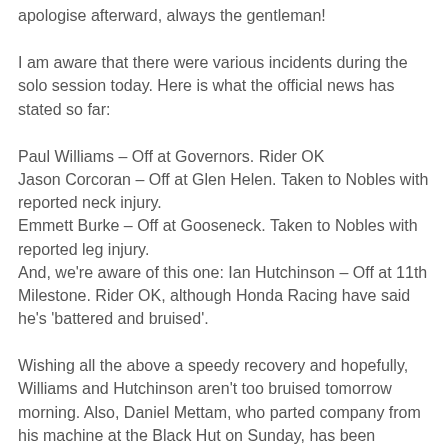apologise afterward, always the gentleman!
I am aware that there were various incidents during the solo session today. Here is what the official news has stated so far:
Paul Williams – Off at Governors. Rider OK
Jason Corcoran – Off at Glen Helen. Taken to Nobles with reported neck injury.
Emmett Burke – Off at Gooseneck. Taken to Nobles with reported leg injury.
And, we're aware of this one: Ian Hutchinson – Off at 11th Milestone. Rider OK, although Honda Racing have said he's 'battered and bruised'.
Wishing all the above a speedy recovery and hopefully, Williams and Hutchinson aren't too bruised tomorrow morning. Also, Daniel Mettam, who parted company from his machine at the Black Hut on Sunday, has been discharged from Nobles which is always good news.